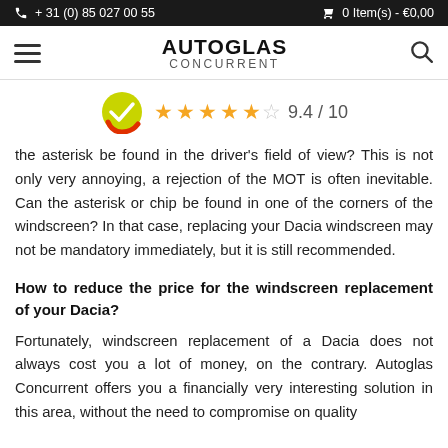+ 31 (0) 85 027 00 55   0 Item(s) - €0,00
[Figure (logo): Autoglas Concurrent logo with hamburger menu and search icon]
[Figure (infographic): Rating badge with checkmark icon and 4.5 stars, 9.4 / 10]
the asterisk be found in the driver's field of view? This is not only very annoying, a rejection of the MOT is often inevitable. Can the asterisk or chip be found in one of the corners of the windscreen? In that case, replacing your Dacia windscreen may not be mandatory immediately, but it is still recommended.
How to reduce the price for the windscreen replacement of your Dacia?
Fortunately, windscreen replacement of a Dacia does not always cost you a lot of money, on the contrary. Autoglas Concurrent offers you a financially very interesting solution in this area, without the need to compromise on quality